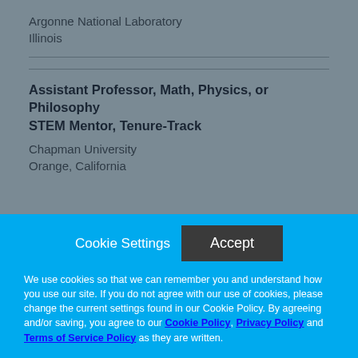Argonne National Laboratory
Illinois
Assistant Professor, Math, Physics, or Philosophy STEM Mentor, Tenure-Track
Chapman University
Orange, California
Cookie Settings
Accept
We use cookies so that we can remember you and understand how you use our site. If you do not agree with our use of cookies, please change the current settings found in our Cookie Policy. By agreeing and/or saving, you agree to our Cookie Policy, Privacy Policy and Terms of Service Policy as they are written.